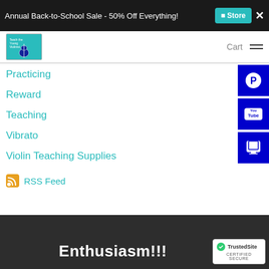Annual Back-to-School Sale - 50% Off Everything! Store ×
[Figure (logo): Website logo with teal background and violin silhouette]
Cart
[Figure (screenshot): Pinterest social media button (blue)]
[Figure (screenshot): YouTube social media button (blue)]
[Figure (screenshot): Print button (blue)]
Practicing
Reward
Teaching
Vibrato
Violin Teaching Supplies
RSS Feed
Enthusiasm!!!
[Figure (logo): TrustedSite Certified Secure badge]